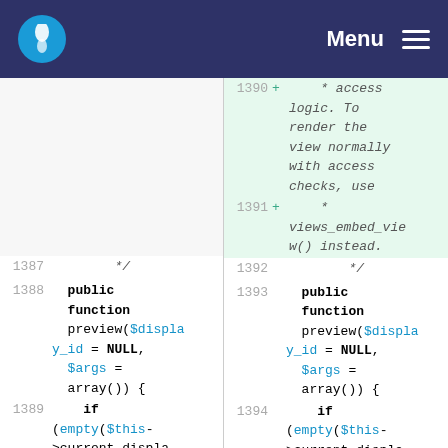Menu
[Figure (screenshot): Code diff view showing PHP function preview with line numbers 1387-1394 on left (old) and 1390-1394 on right (new/added). Added lines show comment about access logic and views_embed_view() instead. Both sides show public function preview($display_y_id = NULL, $args = array()) { if (empty($this->current_display) ||]
1387  */
1388  public function preview($display_y_id = NULL, $args = array()) {
1389  if (empty($this->current_display) ||
1390 + * access logic. To render the view normally with access checks, use
1391 + * views_embed_view() instead.
1392  */
1393  public function preview($display_y_id = NULL, $args = array()) {
1394  if (empty($this->current_display) ||